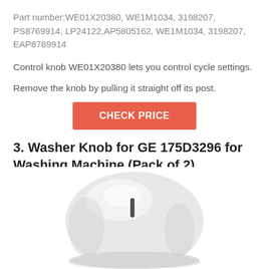Part number:WE01X20380, WE1M1034, 3198207, PS8769914, LP24122,AP5805162, WE1M1034, 3198207, EAP8769914
Control knob WE01X20380 lets you control cycle settings.
Remove the knob by pulling it straight off its post.
CHECK PRICE
3. Washer Knob for GE 175D3296 for Washing Machine (Pack of 2)
[Figure (photo): White washer control knob for GE washing machine, viewed from above at an angle, showing a rounded dome shape with a dark indicator line]